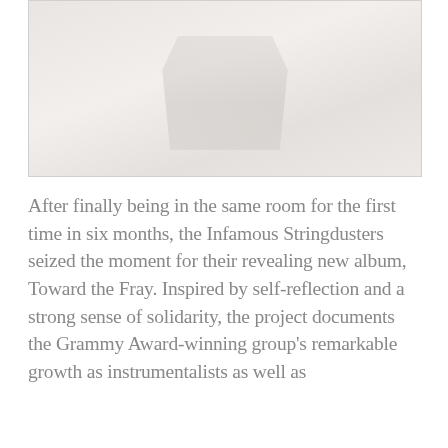[Figure (photo): A faded/washed-out photograph, likely of people or a band, with a light pinkish-beige tone, partially visible at the top of the page.]
After finally being in the same room for the first time in six months, the Infamous Stringdusters seized the moment for their revealing new album, Toward the Fray. Inspired by self-reflection and a strong sense of solidarity, the project documents the Grammy Award-winning group's remarkable growth as instrumentalists as well as